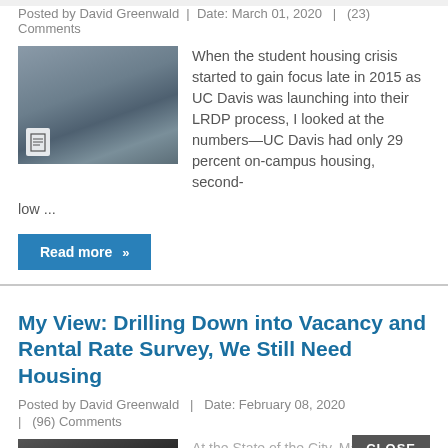Posted by David Greenwald | Date: March 01, 2020 | (23) Comments
[Figure (photo): Photo of a modern building/campus housing exterior with trees]
When the student housing crisis started to gain focus late in 2015 as UC Davis was launching into their LRDP process, I looked at the numbers—UC Davis had only 29 percent on-campus housing, second-low ...
Read more »
My View: Drilling Down into Vacancy and Rental Rate Survey, We Still Need Housing
Posted by David Greenwald | Date: February 08, 2020 | (96) Comments
[Figure (photo): Photo of an Apartment For Rent sign in black and white]
At the State of the City, Mayor Brett Lee announced that "there are very substantial changes on the horizon